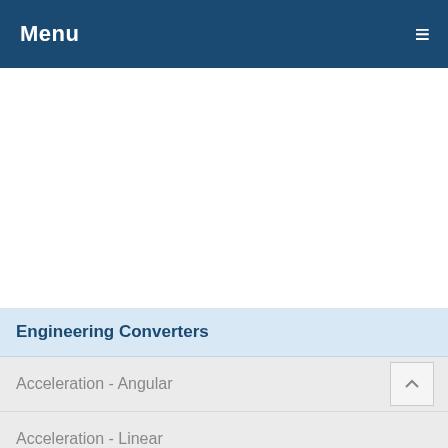Menu
Engineering Converters
Acceleration - Angular
Acceleration - Linear